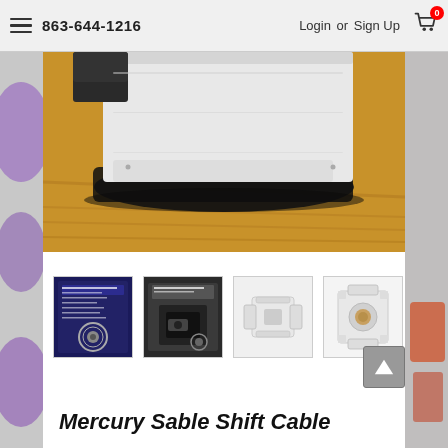863-644-1216  Login or Sign Up  [Cart: 0]
[Figure (photo): Close-up photo of a white plastic object (transmission/shift cable end or housing component) sitting on a wooden surface with a dark rubber bushing or grommet at the bottom.]
[Figure (photo): Thumbnail 1: Product packaging showing 'Transmission Linkage Repair Kit' label with a BMW logo.]
[Figure (photo): Thumbnail 2: Product packaging close-up showing 'Transmission Linkage Repair Kit' label and the contents (dark clip/bushing) visible.]
[Figure (photo): Thumbnail 3: White plastic shift cable bushing/clip component, side view.]
[Figure (photo): Thumbnail 4: White plastic shift cable bushing/clip component, front view showing circular hole.]
Mercury Sable Shift Cable